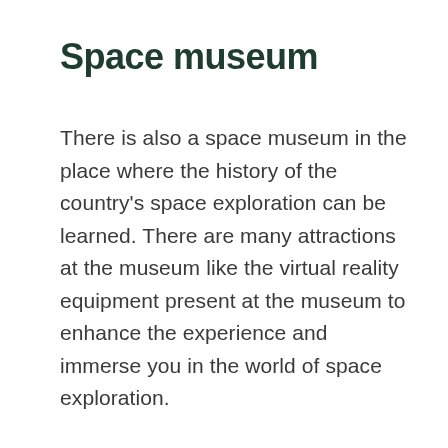Space museum
There is also a space museum in the place where the history of the country's space exploration can be learned. There are many attractions at the museum like the virtual reality equipment present at the museum to enhance the experience and immerse you in the world of space exploration.